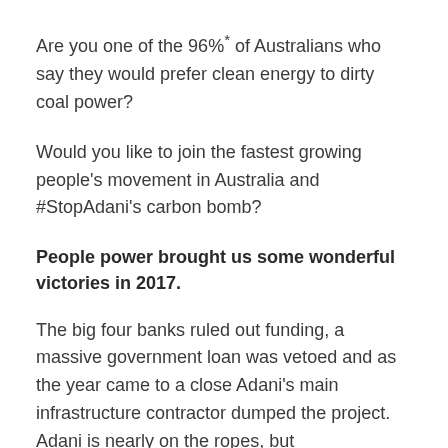Are you one of the 96%* of Australians who say they would prefer clean energy to dirty coal power?
Would you like to join the fastest growing people's movement in Australia and #StopAdani's carbon bomb?
People power brought us some wonderful victories in 2017.
The big four banks ruled out funding, a massive government loan was vetoed and as the year came to a close Adani's main infrastructure contractor dumped the project. Adani is nearly on the ropes, but the war is not over yet.